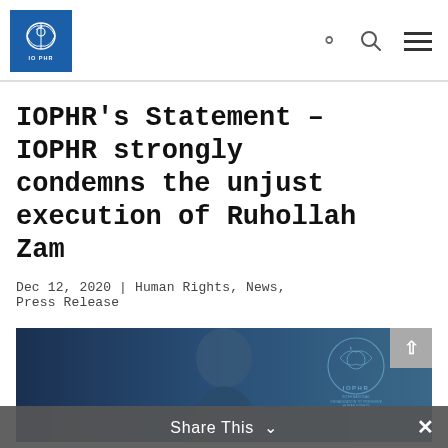IOPHR logo, search icon, menu icon
IOPHR's Statement – IOPHR strongly condemns the unjust execution of Ruhollah Zam
Dec 12, 2020 | Human Rights, News, Press Release
[Figure (photo): Person silhouette against a dark blue background with IOPHR logo watermark in the upper right corner]
Share This